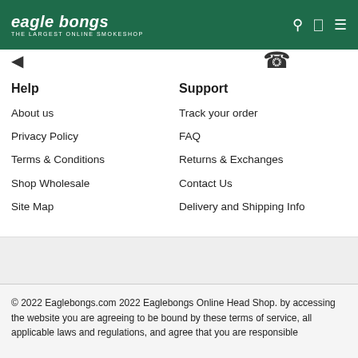eagle bongs THE LARGEST ONLINE SMOKESHOP
Help
Support
About us
Track your order
Privacy Policy
FAQ
Terms & Conditions
Returns & Exchanges
Shop Wholesale
Contact Us
Site Map
Delivery and Shipping Info
© 2022 Eaglebongs.com 2022 Eaglebongs Online Head Shop. by accessing the website you are agreeing to be bound by these terms of service, all applicable laws and regulations, and agree that you are responsible